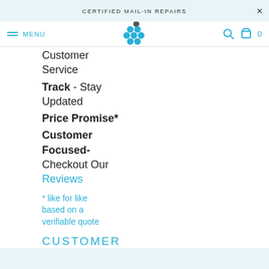CERTIFIED MAIL-IN REPAIRS  ×
[Figure (logo): Blue dot cluster logo resembling molecules/grapes with a dark grey dot on top]
Customer Service
Track - Stay Updated
Price Promise*
Customer Focused- Checkout Our Reviews
* like for like based on a verifiable quote
CUSTOMER PROMISE